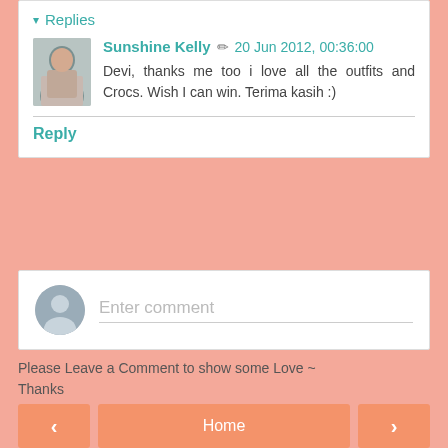Replies
Sunshine Kelly  20 Jun 2012, 00:36:00
Devi, thanks me too i love all the outfits and Crocs. Wish I can win. Terima kasih :)
Reply
Enter comment
Please Leave a Comment to show some Love ~ Thanks
Home
View web version
Powered by Blogger